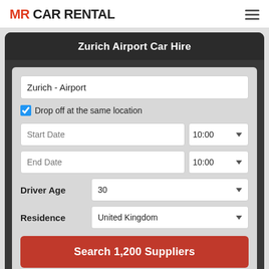MR CAR RENTAL
Zurich Airport Car Hire
Zurich - Airport
Drop off at the same location
Start Date | 10:00
End Date | 10:00
Driver Age: 30
Residence: United Kingdom
Search 1,200 Suppliers